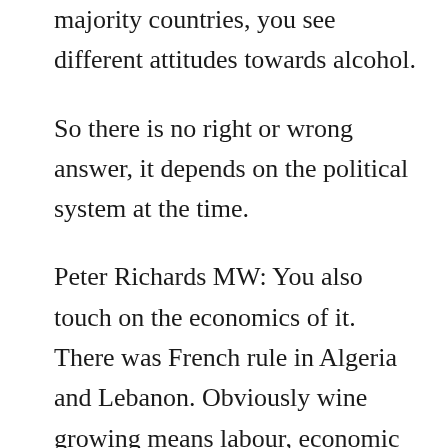majority countries, you see different attitudes towards alcohol.
So there is no right or wrong answer, it depends on the political system at the time.
Peter Richards MW: You also touch on the economics of it. There was French rule in Algeria and Lebanon. Obviously wine growing means labour, economic activity, taxation. What’s that aspect to it? Are we going to see a revival of wine in these countries, a muddling along of Muslim rule and wine production or